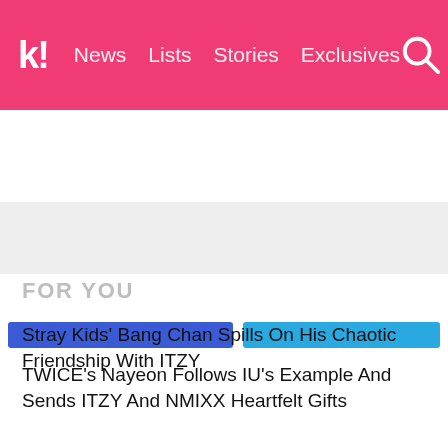k! News Lists Stories Exclusives
BTS TWICE BLACKPINK aespa NCT IVE SHINe
FOR YOU
Stray Kids' Bang Chan Spills On His Chaotic Friendship With ITZY
TWICE's Nayeon Follows IU's Example And Sends ITZY And NMIXX Heartfelt Gifts
Aespa's Karina And NMIXX's Sullyoon Wore The Same Dress But Served Totally Different Vibes
Which K-Pop Idol Would Wear This, Except It's Literally SHINee's Key